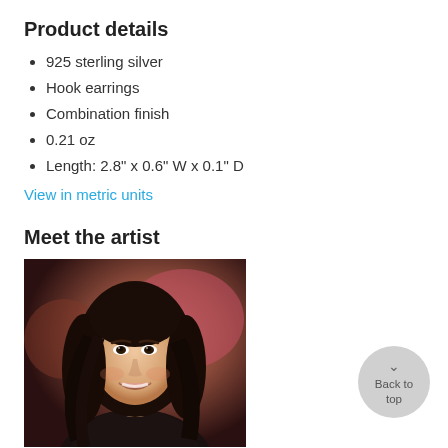Product details
925 sterling silver
Hook earrings
Combination finish
0.21 oz
Length: 2.8" x 0.6" W x 0.1" D
View in metric units
Meet the artist
[Figure (photo): Portrait photo of a smiling young woman with long dark hair, wearing a dark jacket, with a blurred colorful background.]